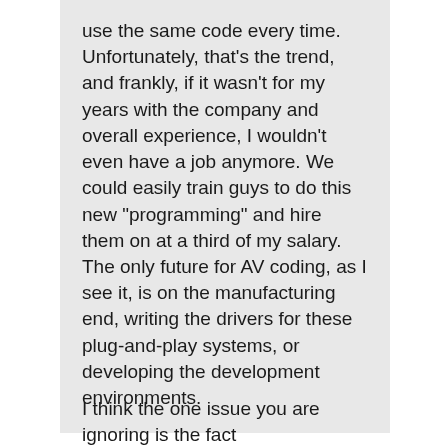use the same code every time. Unfortunately, that's the trend, and frankly, if it wasn't for my years with the company and overall experience, I wouldn't even have a job anymore. We could easily train guys to do this new "programming" and hire them on at a third of my salary. The only future for AV coding, as I see it, is on the manufacturing end, writing the drivers for these plug-and-play systems, or developing the development environments.
I think the one issue you are ignoring is the fact